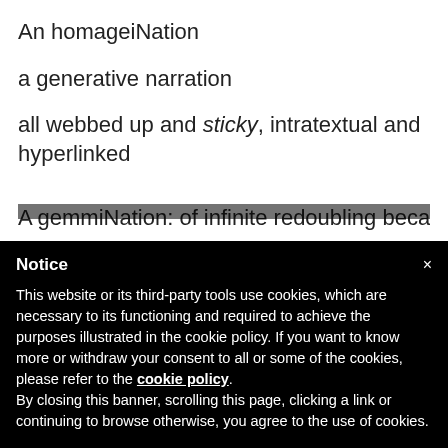An homageiNation
a generative narration
all webbed up and sticky, intratextual and hyperlinked
A gemmiNation: of infinite redoubling because NATION
Notice
This website or its third-party tools use cookies, which are necessary to its functioning and required to achieve the purposes illustrated in the cookie policy. If you want to know more or withdraw your consent to all or some of the cookies, please refer to the cookie policy. By closing this banner, scrolling this page, clicking a link or continuing to browse otherwise, you agree to the use of cookies.